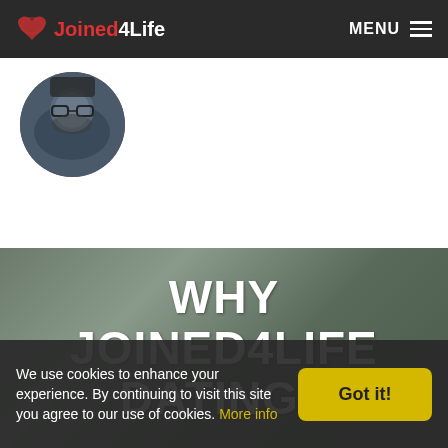Joined4Life — MENU
[Figure (photo): Circular profile photo of a man with glasses and a beard wearing a blue jacket, dark background]
WHY JOINED4LIFE DATING?
We use cookies to enhance your experience. By continuing to visit this site you agree to our use of cookies. More info